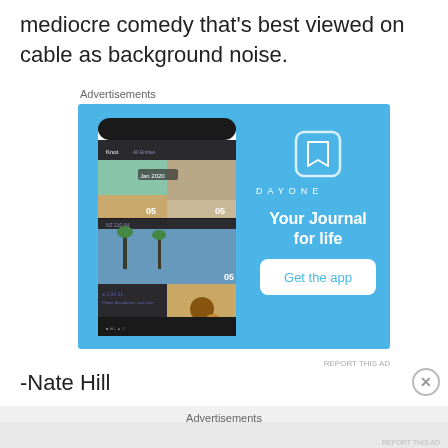mediocre comedy that's best viewed on cable as background noise.
Advertisements
[Figure (screenshot): DayOne app advertisement showing a smartphone mockup with a journal app interface on the left, and on the right a light blue background with the DayOne logo, tagline 'Your Journal for life', and a 'Get the app' button.]
REPORT THIS AD
-Nate Hill
Advertisements
REPORT THIS AD